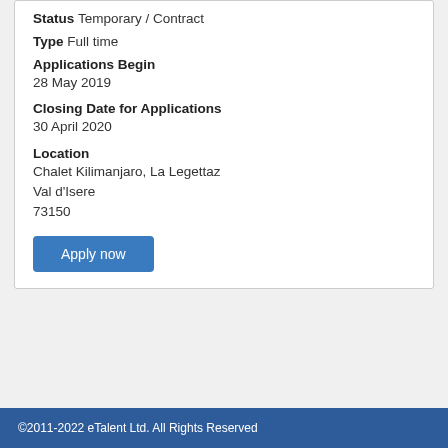Status Temporary / Contract
Type Full time
Applications Begin
28 May 2019
Closing Date for Applications
30 April 2020
Location
Chalet Kilimanjaro, La Legettaz
Val d'Isere
73150
Apply now
Return to Jobs List
©2011-2022 eTalent Ltd. All Rights Reserved